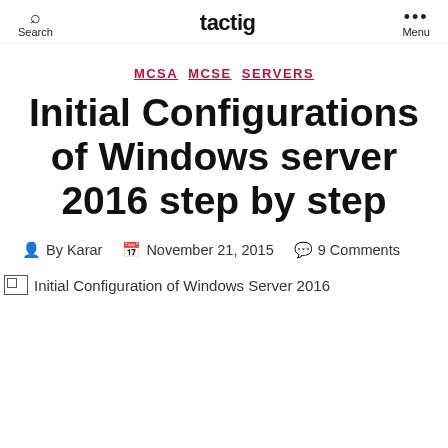Search  tactig  Menu
MCSA  MCSE  SERVERS
Initial Configurations of Windows server 2016 step by step
By Karar  November 21, 2015  9 Comments
[Figure (photo): Broken image placeholder for Initial Configuration of Windows Server 2016]